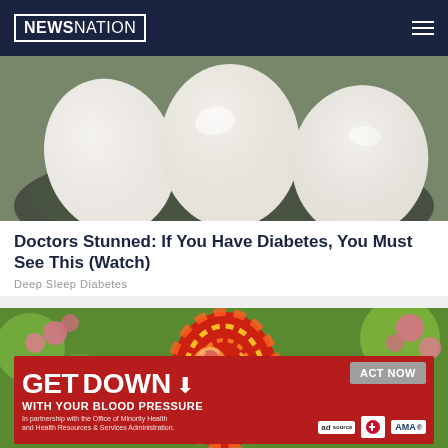NEWSNATION
[Figure (photo): Photo of peeled hard-boiled white eggs in a bowl, close-up shot]
Doctors Stunned: If You Have Diabetes, You Must See This (Watch)
Deep Sleep Diabetes
[Figure (photo): Photo of a colorful painted Easter egg with red, yellow and orange swirling patterns, surrounded by pink blossoms]
[Figure (infographic): Red banner advertisement: GET DOWN WITH YOUR BLOOD PRESSURE - ACT NOW - with ad source logo, American Heart Association logo, and AMA logo. In partnership with the Office of Minority Health and Health Resources & Services Administration.]